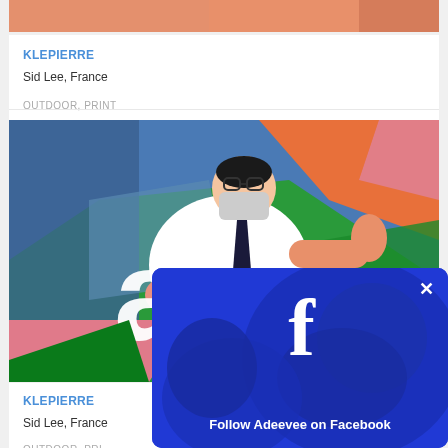[Figure (illustration): Partial illustration visible at top of page, orange/peach colored background with partial image content]
KLEPIERRE
Sid Lee, France
OUTDOOR, PRINT
[Figure (illustration): Colorful flat illustration of a masked figure in white shirt and tie making a pointing gesture, with a large white letter 'a' overlaid. Background has bold sections of orange, green, blue, and pink geometric shapes.]
KLEPIERRE
Sid Lee, France
OUTDOOR, PRI
[Figure (screenshot): Facebook follow overlay popup with blue background showing a gorilla/ape image, large white 'f' Facebook logo, X close button, and text 'Follow Adeevee on Facebook']